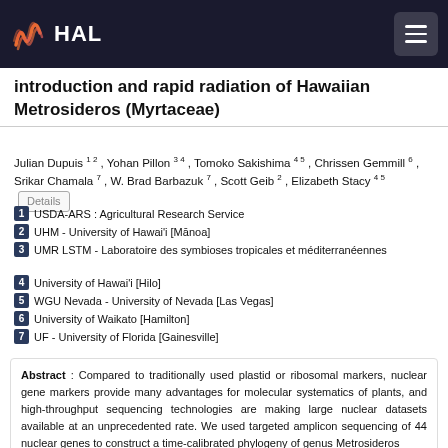HAL
introduction and rapid radiation of Hawaiian Metrosideros (Myrtaceae)
Julian Dupuis 1 2 , Yohan Pillon 3 4 , Tomoko Sakishima 4 5 , Chrissen Gemmill 6 , Srikar Chamala 7 , W. Brad Barbazuk 7 , Scott Geib 2 , Elizabeth Stacy 4 5
1 USDA-ARS : Agricultural Research Service
2 UHM - University of Hawai'i [Mānoa]
3 UMR LSTM - Laboratoire des symbioses tropicales et méditerranéennes
4 University of Hawai'i [Hilo]
5 WGU Nevada - University of Nevada [Las Vegas]
6 University of Waikato [Hamilton]
7 UF - University of Florida [Gainesville]
Abstract : Compared to traditionally used plastid or ribosomal markers, nuclear gene markers provide many advantages for molecular systematics of plants, and high-throughput sequencing technologies are making large nuclear datasets available at an unprecedented rate. We used targeted amplicon sequencing of 44 nuclear genes to construct a time-calibrated phylogeny of genus Metrosideros